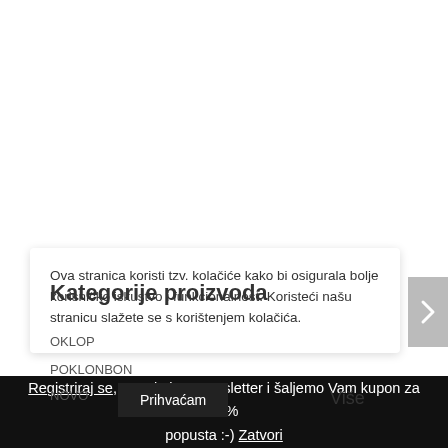Kategorije proizvoda
Ova stranica koristi tzv. kolačiće kako bi osigurala bolje korisničko iskustvo i funkcionalnost. Koristeći našu stranicu slažete se s korištenjem kolačića.
OKLOP
POKLONBON
NOVO
Prihvaćam   Više
Registriraj se, pretplati na newsletter i šaljemo Vam kupon za 10% popusta :-) Zatvori